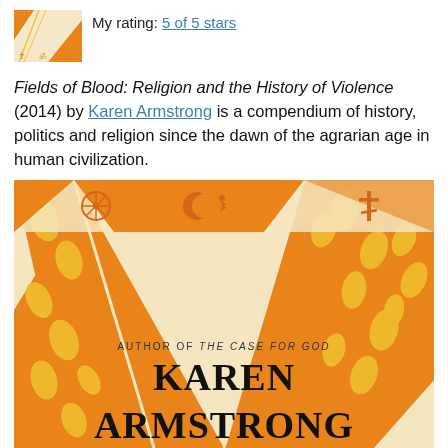[Figure (illustration): Small book cover thumbnail showing orange and gold decorative pattern with religious symbols including cross and om symbol]
My rating: 5 of 5 stars
Fields of Blood: Religion and the History of Violence (2014) by Karen Armstrong is a compendium of history, politics and religion since the dawn of the agrarian age in human civilization.
[Figure (illustration): Book cover of Fields of Blood by Karen Armstrong. Orange and cream colored geometric design with decorative floral/leaf patterns in yellow and orange. Three religious symbols visible at top: a Dharma wheel (Buddhist), crescent and star (Islamic), and orthodox cross (Christian). Text reads: AUTHOR OF THE CASE FOR GOD / KAREN ARMSTRONG (bottom cut off)]